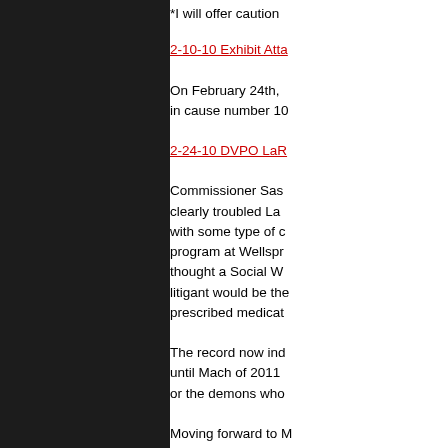*I will offer caution
2-10-10 Exhibit Atta
On February 24th, in cause number 10
2-24-10 DVPO LaR
Commissioner Sas clearly troubled La with some type of c program at Wellspr thought a Social W litigant would be the prescribed medicat
The record now ind until Mach of 2011 or the demons who
Moving forward to M area of Seattle whe approximately 10 ti this attack. Seattle